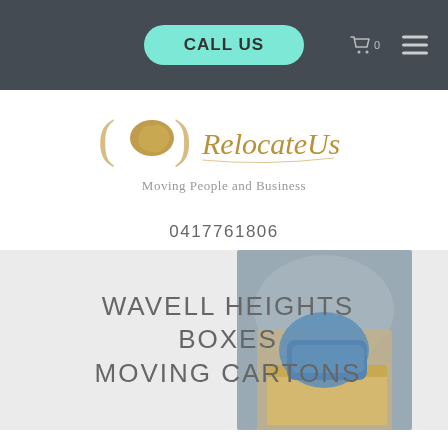CALL US
[Figure (logo): RelocateUs logo with golden Australia map silhouette and stylized script text, tagline: Moving People and Business]
0417761806
WAVELL HEIGHTS BOXES MOVING CARTONS
[Figure (photo): Person in blue shirt handling a cardboard moving box]